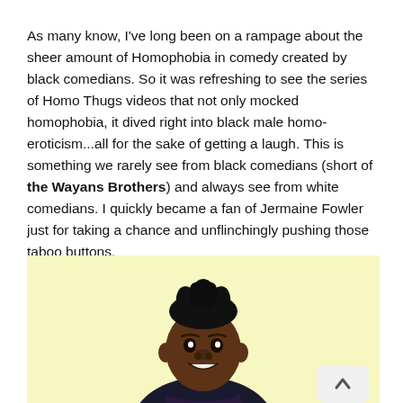As many know, I've long been on a rampage about the sheer amount of Homophobia in comedy created by black comedians. So it was refreshing to see the series of Homo Thugs videos that not only mocked homophobia, it dived right into black male homo-eroticism...all for the sake of getting a laugh. This is something we rarely see from black comedians (short of the Wayans Brothers) and always see from white comedians. I quickly became a fan of Jermaine Fowler just for taking a chance and unflinchingly pushing those taboo buttons.
[Figure (photo): A young Black man smiling against a light yellow background, wearing a dark shirt. He has short natural hair styled upward.]